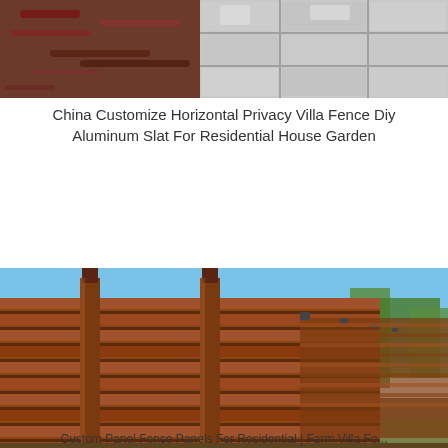[Figure (photo): Top partial photo showing mulch/plant material on left and light grey tile/pavers on right]
China Customize Horizontal Privacy Villa Fence Diy Aluminum Slat For Residential House Garden
[Figure (photo): Photo of a long horizontal wooden privacy fence with vertical posts, running into the distance on the right side with a strip of dirt/grass path beside it and trees visible in background under blue sky]
Custom Panel Fence Panels For Residential | Farm Villa Fe...